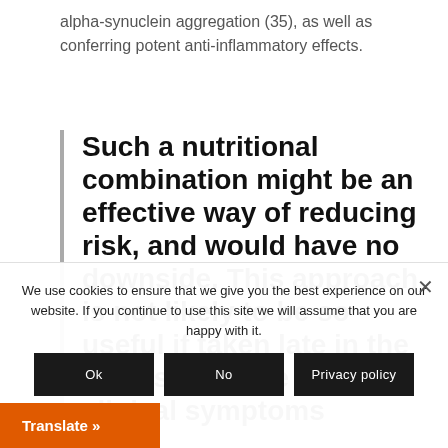alpha-synuclein aggregation (35), as well as conferring potent anti-inflammatory effects.
Such a nutritional combination might be an effective way of reducing risk, and would have no downside. This approach is not likely to be so useful if taken late in the disease ie once the clinical symptoms
We use cookies to ensure that we give you the best experience on our website. If you continue to use this site we will assume that you are happy with it.
Ok
No
Privacy policy
Translate »